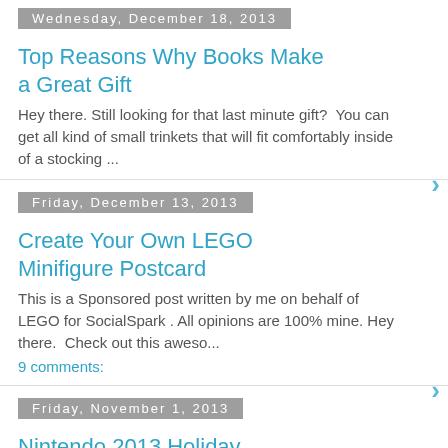Wednesday, December 18, 2013
Top Reasons Why Books Make a Great Gift
Hey there. Still looking for that last minute gift?  You can get all kind of small trinkets that will fit comfortably inside of a stocking ...
Friday, December 13, 2013
Create Your Own LEGO Minifigure Postcard
This is a Sponsored post written by me on behalf of LEGO for SocialSpark . All opinions are 100% mine. Hey there.  Check out this aweso...
9 comments:
Friday, November 1, 2013
Nintendo 2013 Holiday Shopping Guide
Hey there. It's that time again! November is here! You know what that means?! Holiday shopping